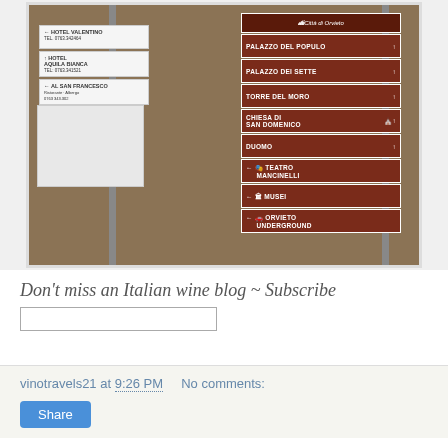[Figure (photo): Photograph of directional signs on a stone wall in Orvieto, Italy. A brown sign board shows directions to: Città di Orvieto, Palazzo del Populo, Palazzo dei Sette, Torre del Moro, Chiesa di San Domenico, Duomo, Teatro Mancinelli, Musei, Orvieto Underground. On the left are white hotel signs for Hotel Valentino, Hotel Aquila Bianca, and Al San Francesco.]
Don't miss an Italian wine blog ~ Subscribe
vinotravels21 at 9:26 PM   No comments:
Share